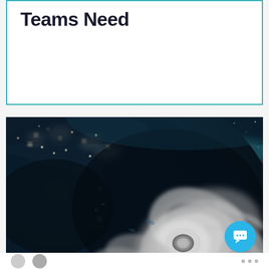Teams Need
[Figure (photo): Satellite view of a large hurricane approaching the southeastern coast of the United States, seen from space at night with city lights visible on the land. The hurricane's spiral cloud formation and eye are clearly visible.]